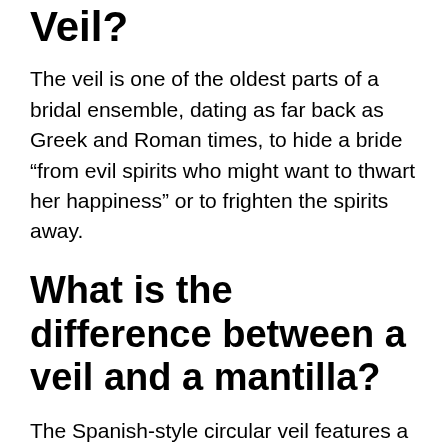Veil?
The veil is one of the oldest parts of a bridal ensemble, dating as far back as Greek and Roman times, to hide a bride “from evil spirits who might want to thwart her happiness” or to frighten the spirits away.
What is the difference between a veil and a mantilla?
The Spanish-style circular veil features a thick lace trim along the edge and intricate embellishments cascading down the front, framing the bride’s face. “Mantilla wedding veils are circular veils with a lace trim around the entire edge, typically with a scalloped